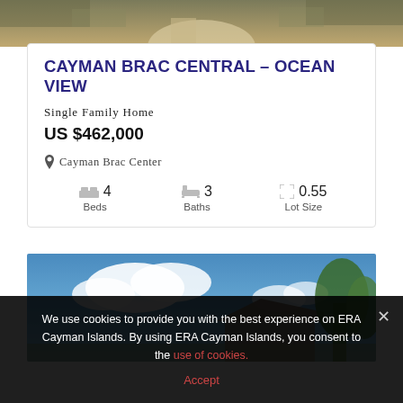[Figure (photo): Top strip showing a graveled path with vegetation on the sides]
CAYMAN BRAC CENTRAL – OCEAN VIEW
Single Family Home
US $462,000
Cayman Brac Center
4 Beds   3 Baths   0.55 Lot Size
[Figure (photo): Exterior photo of house with blue sky and clouds, trees on right]
We use cookies to provide you with the best experience on ERA Cayman Islands. By using ERA Cayman Islands, you consent to the use of cookies.
Accept